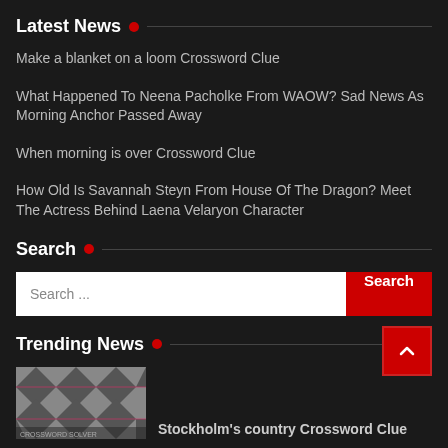Latest News
Make a blanket on a loom Crossword Clue
What Happened To Neena Pacholke From WAOW? Sad News As Morning Anchor Passed Away
When morning is over Crossword Clue
How Old Is Savannah Steyn From House Of The Dragon? Meet The Actress Behind Laena Velaryon Character
Search
Search ...
Trending News
[Figure (photo): Thumbnail image of a crossword/blanket pattern in black and white with pink accents]
Stockholm's country Crossword Clue